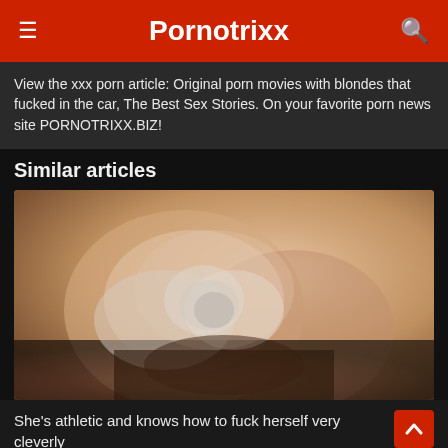Pornotrixx
View the xxx porn article: Original porn movies with blondes that fucked in the car, The Best Sex Stories. On your favorite porn news site PORNOTRIXX.BIZ!
Similar articles
[Figure (photo): Close-up photo of a person's hand with a lace glove touching skin]
She's athletic and knows how to fuck herself very cleverly